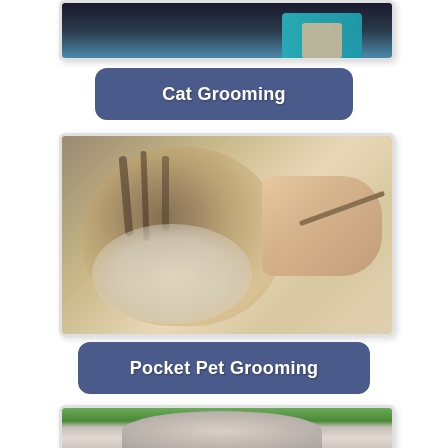[Figure (photo): Partial photo of an animal being groomed, only the top portion visible showing a hand with teal sleeve]
Cat Grooming
[Figure (photo): A fluffy tabby cat being groomed with a tool, a hand holding a grooming comb near its whiskers]
Pocket Pet Grooming
[Figure (photo): A lop-eared rabbit sitting on a wooden surface, light gray/white colored]